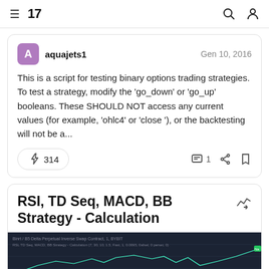TradingView navigation bar
aquajets1 — Gen 10, 2016
This is a script for testing binary options trading strategies. To test a strategy, modify the 'go_down' or 'go_up' booleans. These SHOULD NOT access any current values (for example, 'ohlc4' or 'close '), or the backtesting will not be a...
314   1
RSI, TD Seq, MACD, BB Strategy - Calculation
[Figure (screenshot): TradingView chart preview showing a dark background candlestick/line chart for RSI, TD Seq, MACD, BB Strategy - Calculation]